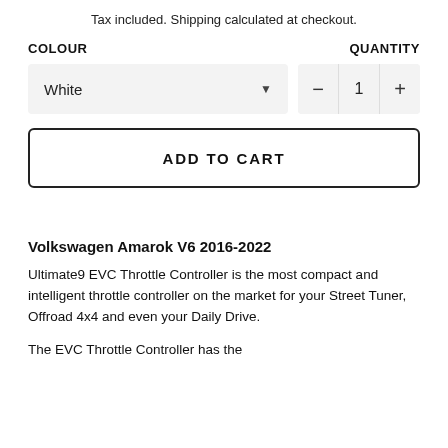Tax included. Shipping calculated at checkout.
COLOUR
QUANTITY
White
1
ADD TO CART
Volkswagen Amarok V6 2016-2022
Ultimate9 EVC Throttle Controller is the most compact and intelligent throttle controller on the market for your Street Tuner, Offroad 4x4 and even your Daily Drive.
The EVC Throttle Controller has the...